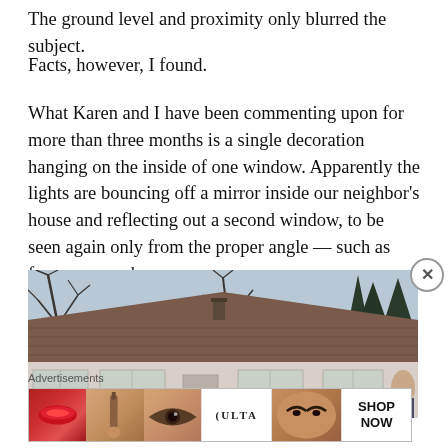The ground level and proximity only blurred the subject.
Facts, however, I found.
What Karen and I have been commenting upon for more than three months is a single decoration hanging on the inside of one window. Apparently the lights are bouncing off a mirror inside our neighbor’s house and reflecting out a second window, to be seen again only from the proper angle — such as from our porch.
[Figure (photo): Exterior photo of a neighbor's house showing the roof and windows in winter, with bare trees visible in the background.]
Advertisements
[Figure (screenshot): Advertisement banner for ULTA beauty products showing various makeup-related images and a 'SHOP NOW' call to action.]